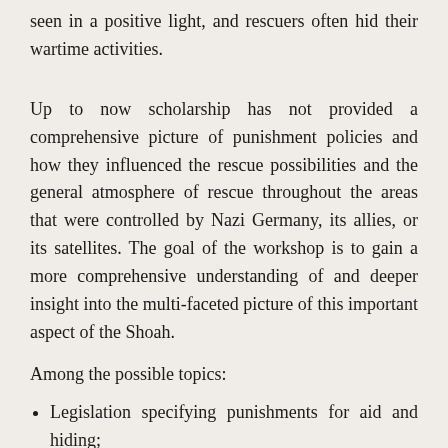seen in a positive light, and rescuers often hid their wartime activities.
Up to now scholarship has not provided a comprehensive picture of punishment policies and how they influenced the rescue possibilities and the general atmosphere of rescue throughout the areas that were controlled by Nazi Germany, its allies, or its satellites. The goal of the workshop is to gain a more comprehensive understanding of and deeper insight into the multi-faceted picture of this important aspect of the Shoah.
Among the possible topics:
Legislation specifying punishments for aid and hiding;
Comparison with policies regarding aiding